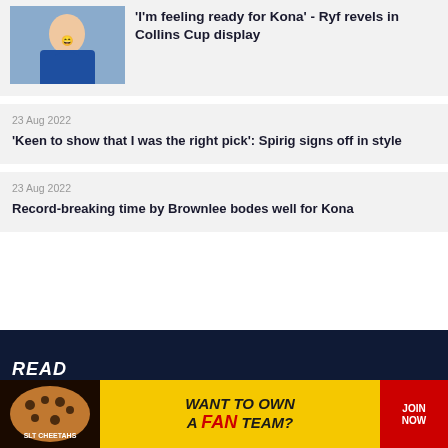[Figure (photo): Person in blue athletic wear celebrating with fist pump, smiling]
'I'm feeling ready for Kona' - Ryf revels in Collins Cup display
23 Aug 2022
'Keen to show that I was the right pick': Spirig signs off in style
23 Aug 2022
Record-breaking time by Brownlee bodes well for Kona
READ
[Figure (infographic): SLT Cheetahs advertisement: WANT TO OWN A FAN TEAM? JOIN NOW]